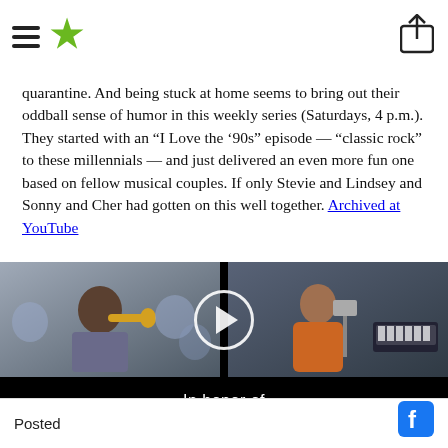Menu / Star logo / Share icon
quarantine. And being stuck at home seems to bring out their oddball sense of humor in this weekly series (Saturdays, 4 p.m.). They started with an “I Love the ’90s” episode — “classic rock” to these millennials — and just delivered an even more fun one based on fellow musical couples. If only Stevie and Lindsey and Sonny and Cher had gotten on this well together. Archived at YouTube
[Figure (photo): Video thumbnail showing a musician with trumpet on left side and a person in orange hoodie with instruments on right side, overlaid with play button and text 'In honor of Manu Dibango' on black background]
Posted